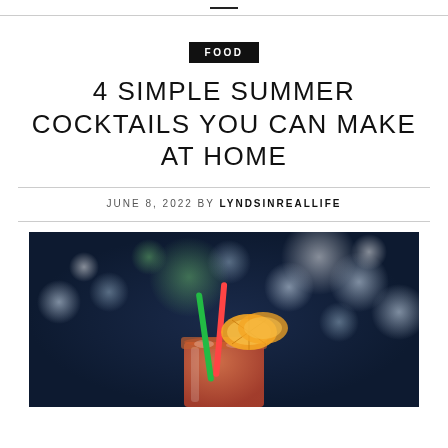—
FOOD
4 SIMPLE SUMMER COCKTAILS YOU CAN MAKE AT HOME
JUNE 8, 2022 BY LYNDSINREALLIFE
[Figure (photo): A summer cocktail in a mason jar with orange slices and colorful straws, set against a bokeh blue background with green and white light circles.]